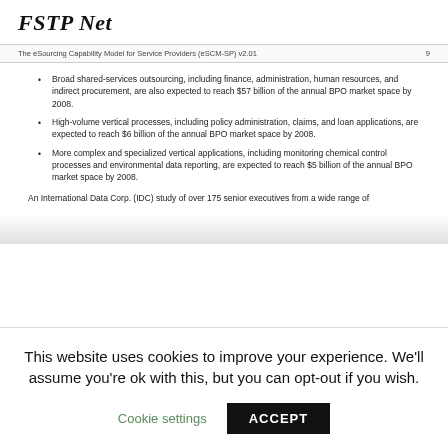FSTP Net
The eSourcing Capability Model for Service Providers (eSCM-SP) v2.01   9
Broad shared-services outsourcing, including finance, administration, human resources, and indirect procurement, are also expected to reach $57 billion of the annual BPO market space by 2008.
High-volume vertical processes, including policy administration, claims, and loan applications, are expected to reach $6 billion of the annual BPO market space by 2008.
More complex and specialized vertical applications, including monitoring chemical control processes and environmental data reporting, are expected to reach $5 billion of the annual BPO market space by 2008.
An International Data Corp. (IDC) study of over 175 senior executives from a wide range of
This website uses cookies to improve your experience. We'll assume you're ok with this, but you can opt-out if you wish.
Cookie settings   ACCEPT